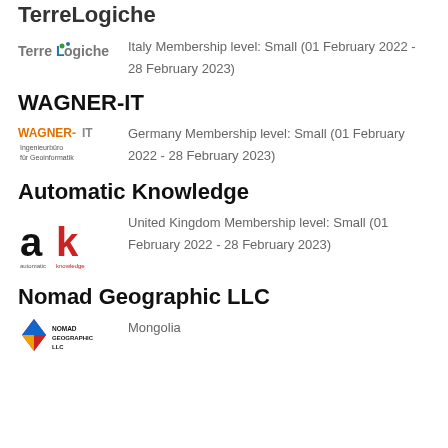TerreLogiche
[Figure (logo): TerreLogiche logo - text logo with stylized L]
Italy
Membership level: Small
(01 February 2022 - 28 February 2023)
WAGNER-IT
[Figure (logo): WAGNER-IT logo - orange and gray text with subtitle Ingenieurbüro für Geoinformatik]
Germany
Membership level: Small
(01 February 2022 - 28 February 2023)
Automatic Knowledge
[Figure (logo): ak logo - bold black a and red k with automatic knowledge text below]
United Kingdom
Membership level: Small
(01 February 2022 - 28 February 2023)
Nomad Geographic LLC
[Figure (logo): Nomad Geographic LLC logo - diamond shape with NOMAD GEOGRAPHIC LLC text]
Mongolia